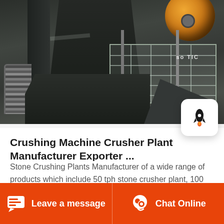[Figure (photo): Industrial stone crushing machine/crusher plant equipment viewed from below, showing dark metal machine body, orange pulley wheel at top right, metal catwalk/grating, coiled hose or spring at lower left, and a ramp/chute structure. Industrial indoor/outdoor setting.]
Crushing Machine Crusher Plant Manufacturer Exporter ...
Stone Crushing Plants Manufacturer of a wide range of products which include 50 tph stone crusher plant, 100 tph stone crusher plant, 25 tph stone crusher plant, 200 tph stone crusher plant, crushing machine plant...
Leave a message | Chat Online